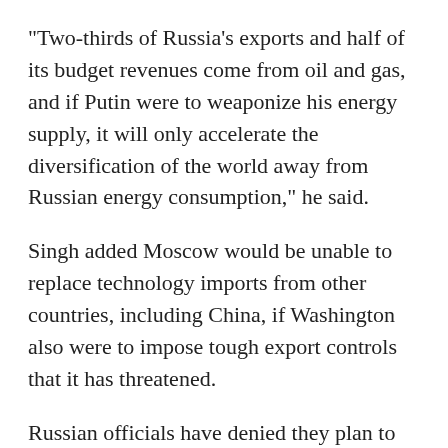“Two-thirds of Russia's exports and half of its budget revenues come from oil and gas, and if Putin were to weaponize his energy supply, it will only accelerate the diversification of the world away from Russian energy consumption,” he said.
Singh added Moscow would be unable to replace technology imports from other countries, including China, if Washington also were to impose tough export controls that it has threatened.
Russian officials have denied they plan to invade Ukraine, but diplomatic talks with Western officials have led to a standoff. Russia has demanded that the U.S. and its allies reject Ukraine's bid for membership in NATO.
The West has rejected that as a nonstarter but has